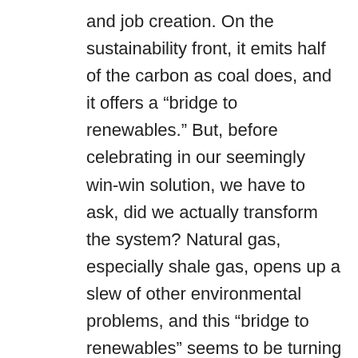and job creation. On the sustainability front, it emits half of the carbon as coal does, and it offers a “bridge to renewables.” But, before celebrating in our seemingly win-win solution, we have to ask, did we actually transform the system? Natural gas, especially shale gas, opens up a slew of other environmental problems, and this “bridge to renewables” seems to be turning back on itself to a dependence once again on fossil fuels, making it even harder for renewable energy sources to break into the system.
There are plenty of first step solutions. But they need to be scaled up to transform the mainstream. Through better understanding the resistance built into the system, we can